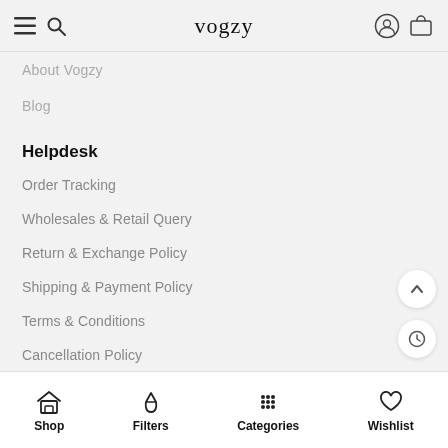vogzy
About Vogzy
Blog
Helpdesk
Order Tracking
Wholesales & Retail Query
Return & Exchange Policy
Shipping & Payment Policy
Terms & Conditions
Cancellation Policy
Network
Shop  Filters  Categories  Wishlist